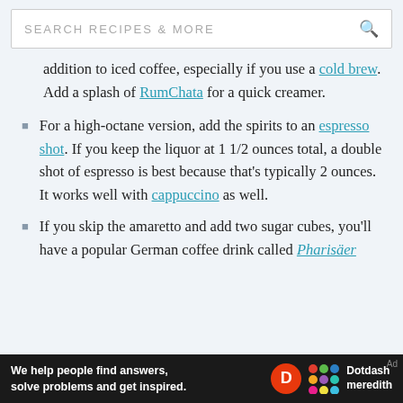SEARCH RECIPES & MORE
addition to iced coffee, especially if you use a cold brew. Add a splash of RumChata for a quick creamer.
For a high-octane version, add the spirits to an espresso shot. If you keep the liquor at 1 1/2 ounces total, a double shot of espresso is best because that's typically 2 ounces. It works well with cappuccino as well.
If you skip the amaretto and add two sugar cubes, you'll have a popular German coffee drink called Pharisäer
We help people find answers, solve problems and get inspired. Dotdash meredith